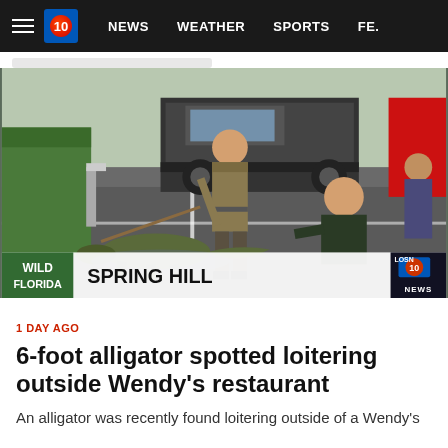NEWS  WEATHER  SPORTS  FE.
[Figure (photo): Two officers in uniform wrangling a 6-foot alligator in a parking lot. One officer in tan uniform holds the alligator with a pole snare, another in dark green uniform reaches toward the alligator from the right. A black pickup truck is visible in the background. Lower-third graphic shows 'WILD FLORIDA | SPRING HILL' with Local 10 News logo.]
1 DAY AGO
6-foot alligator spotted loitering outside Wendy's restaurant
An alligator was recently found loitering outside of a Wendy's